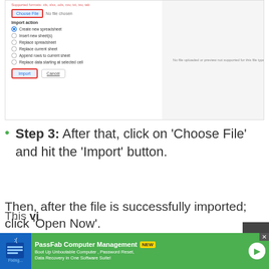[Figure (screenshot): Screenshot of a Google Sheets import dialog showing 'Choose File' button (highlighted with red border), import action radio buttons (Create new spreadsheet selected), a preview pane saying 'No file uploaded or preview not supported for this file type', and an 'Import' button (highlighted with red border) alongside a 'Cancel' button.]
Step 3: After that, click on 'Choose File' and hit the 'Import' button.
Then, after the file is successfully imported; click 'Open Now'.
[Figure (screenshot): Partial advertisement banner for PassFab Computer Management with green background, blue icon area, NEW badge, and arrow button. Also shows a dark scroll-to-top button with upward arrow.]